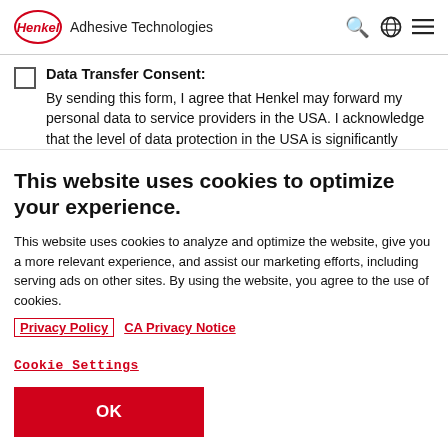Henkel Adhesive Technologies
Data Transfer Consent:
By sending this form, I agree that Henkel may forward my personal data to service providers in the USA. I acknowledge that the level of data protection in the USA is significantly
This website uses cookies to optimize your experience.
This website uses cookies to analyze and optimize the website, give you a more relevant experience, and assist our marketing efforts, including serving ads on other sites. By using the website, you agree to the use of cookies.
Privacy Policy   CA Privacy Notice
Cookie Settings
OK